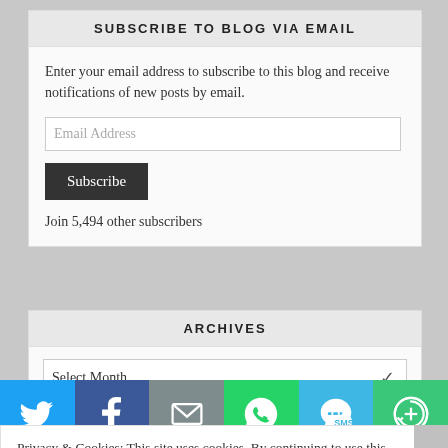SUBSCRIBE TO BLOG VIA EMAIL
Enter your email address to subscribe to this blog and receive notifications of new posts by email.
Join 5,494 other subscribers
ARCHIVES
Privacy & Cookies: This site uses cookies. By continuing to use this website, you agree to their use.
To find out more, including how to control cookies, see here:
Cookie Policy